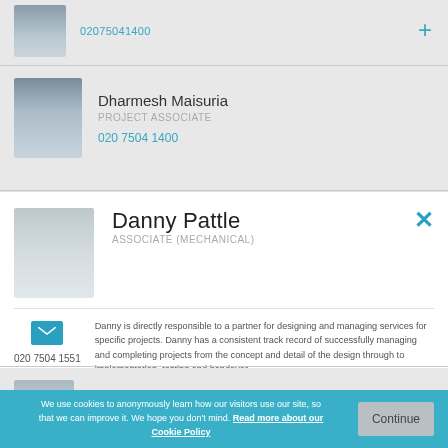02075041400
Dharmesh Maisuria
PROJECT ASSOCIATE
020 7504 1400
[Figure (photo): Portrait photo of Dharmesh Maisuria]
Danny Pattle
ASSOCIATE (MECHANICAL)
Danny is directly responsible to a partner for designing and managing services for specific projects. Danny has a consistent track record of successfully managing and completing projects from the concept and detail of the design through to implementation, testing and handover.
020 7504 1551
[Figure (photo): Portrait photo of Danny Pattle]
Jack Marshall
PROJECT ASSOCIATE (MECHANICAL)
020 7504 1400
[Figure (photo): Portrait photo of Jack Marshall]
We use cookies to anonymously learn how our visitors use our site, so that we can improve it. We hope you don't mind. Read more about our Cookie Policy